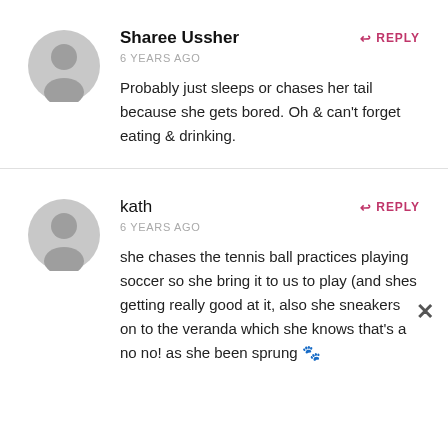Sharee Ussher
6 YEARS AGO
Probably just sleeps or chases her tail because she gets bored. Oh & can't forget eating & drinking.
REPLY
kath
6 YEARS AGO
she chases the tennis ball practices playing soccer so she bring it to us to play (and shes getting really good at it, also she sneakers on to the veranda which she knows that's a no no! as she been sprung 🐾